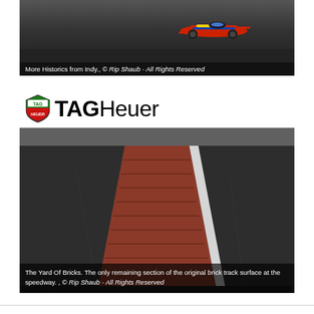[Figure (photo): A vintage red, yellow and blue Formula racing car speeding on the dark asphalt of the Indianapolis Motor Speedway. The background shows the track surface and grandstands blurred in motion.]
More Historics from Indy., © Rip Shaub - All Rights Reserved
[Figure (photo): The Yard of Bricks at the Indianapolis Motor Speedway start/finish line. A section of original brick track surface is visible as a strip across the dark asphalt, with a white line marking. Above the scene is a large TAG Heuer branding banner with shield logo.]
The Yard Of Bricks. The only remaining section of the original brick track surface at the speedway. , © Rip Shaub - All Rights Reserved